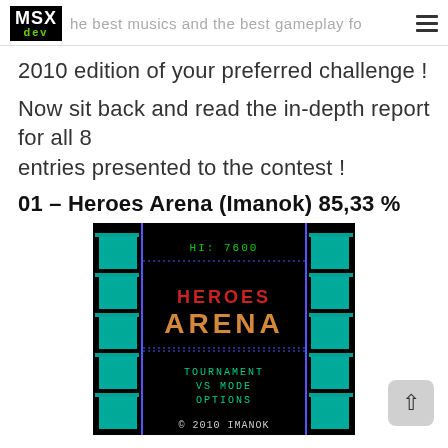MSXdev — the best musics and the best gameplay for us
2010 edition of your preferred challenge !
Now sit back and read the in-depth report for all 8 entries presented to the contest !
01 – Heroes Arena (Imanok) 85,33 %
[Figure (screenshot): Screenshot of Heroes Arena game title screen on MSX. Black background showing 'HI: 7600' at top, 'HEROES ARENA' title in red/orange pixel art letters, with menu options: TOURNAMENT, VS MODE, OPTIONS. Copyright 2010 IMANOK at the bottom. Cyan/teal decorative tile columns on left and right sides.]